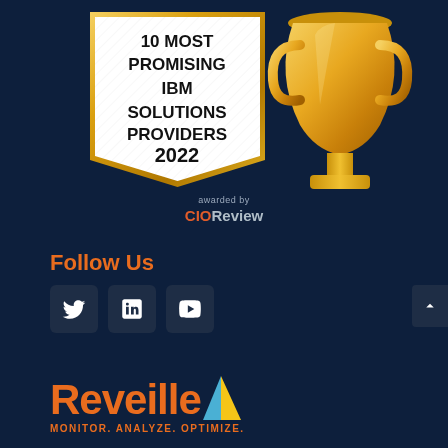[Figure (illustration): Award badge showing '10 MOST PROMISING IBM SOLUTIONS PROVIDERS 2022' on a white shield/badge shape with gold border and a gold trophy, awarded by CIOReview]
awarded by CIOReview
Follow Us
[Figure (illustration): Social media icons: Twitter (X), LinkedIn, YouTube on dark square backgrounds]
[Figure (logo): Reveille logo with orange text 'Reveille' and blue/yellow arrow icon, tagline 'MONITOR. ANALYZE. OPTIMIZE.']